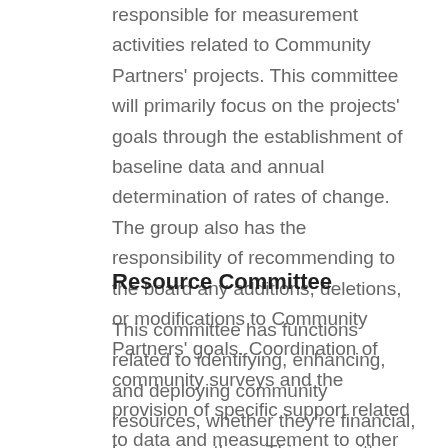responsible for measurement activities related to Community Partners' projects. This committee will primarily focus on the projects' goals through the establishment of baseline data and annual determination of rates of change. The group also has the responsibility of recommending to the board any additions, deletions, or modifications to Community Partners' goals. Coordination of community surveys and the provision of specific support related to data and measurement to other committees also occur through this committee.
Resource Committee
This committee has functions related to identifying, enhancing, and deploying community resources, whether they're financial, human, or others. This committee ensures the long-term funding of Community Partners' infrastructure and may assist community organizations in acquiring external funds